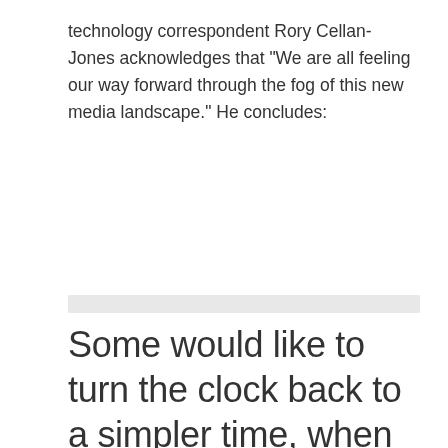technology correspondent Rory Cellan-Jones acknowledges that "We are all feeling our way forward through the fog of this new media landscape." He concludes:
Some would like to turn the clock back to a simpler time, when all power resided in the newsdesk, only star reporters got a byline, and sharing information with outsiders before the presses